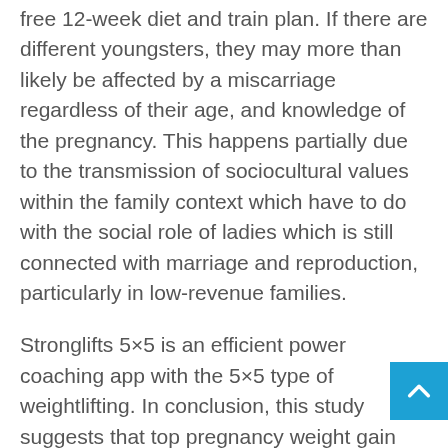free 12-week diet and train plan. If there are different youngsters, they may more than likely be affected by a miscarriage regardless of their age, and knowledge of the pregnancy. This happens partially due to the transmission of sociocultural values within the family context which have to do with the social role of ladies which is still connected with marriage and reproduction, particularly in low-revenue families.
Stronglifts 5×5 is an efficient power coaching app with the 5×5 type of weightlifting. In conclusion, this study suggests that top pregnancy weight gain will increase physique weight in childhood and that measures to restrict pregnancy weight acquire may help prevent weight problems within the subsequent generation.